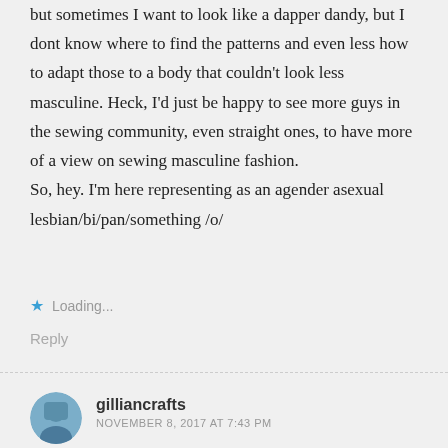but sometimes I want to look like a dapper dandy, but I dont know where to find the patterns and even less how to adapt those to a body that couldn't look less masculine. Heck, I'd just be happy to see more guys in the sewing community, even straight ones, to have more of a view on sewing masculine fashion.
So, hey. I'm here representing as an agender asexual lesbian/bi/pan/something /o/
Loading...
Reply
gilliancrafts
NOVEMBER 8, 2017 AT 7:43 PM